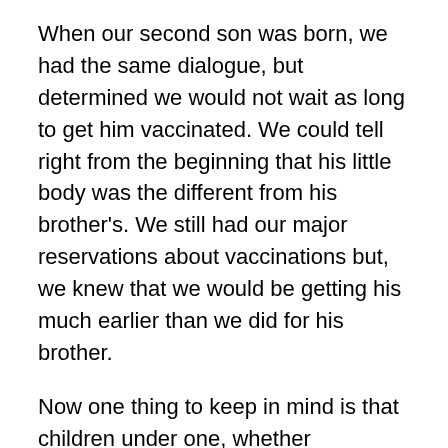When our second son was born, we had the same dialogue, but determined we would not wait as long to get him vaccinated.  We could tell right from the beginning that his little body was the different from his brother's.  We still had our major reservations about vaccinations but, we knew that we would be getting his much earlier than we did for his brother.
Now one thing to keep in mind is that children under one, whether vaccinated or not, are at risk of contracting the diseases that vaccinations cover.  A child following a regular schedule for vaccinations is not considered fully immune before the age of one and there is still at risk of contracting certain illnesses.  For children not vaccinated the risk increases.
If you regularly read my blog you would have noticed that